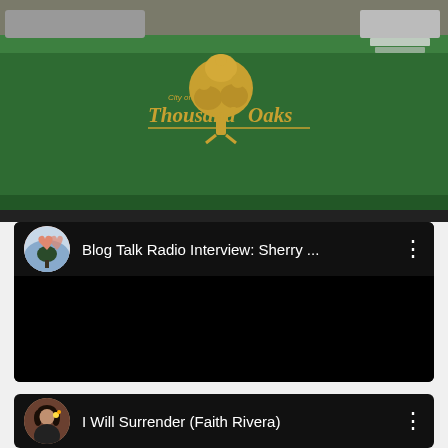[Figure (photo): Photo of a table with a green tablecloth showing the City of Thousand Oaks logo and tree emblem in gold/yellow.]
[Figure (screenshot): YouTube-style video card with black background and avatar thumbnail showing a heart-hands image. Title reads 'Blog Talk Radio Interview: Sherry ...' with a three-dot menu icon.]
[Figure (screenshot): YouTube-style video card with black background and avatar thumbnail of a woman. Title reads 'I Will Surrender (Faith Rivera)' with a three-dot menu icon.]